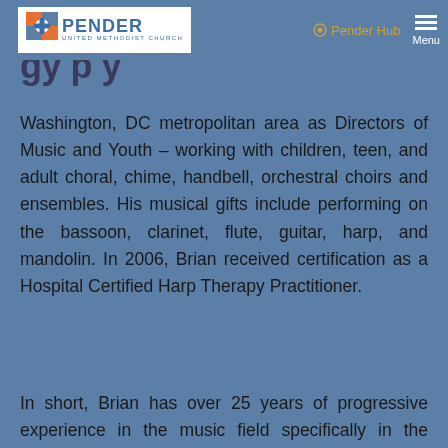[Figure (logo): Pender United Methodist Church logo with cross icon and text]
Pender Hub  Menu
Washington, DC metropolitan area as Directors of Music and Youth – working with children, teen, and adult choral, chime, handbell, orchestral choirs and ensembles. His musical gifts include performing on the bassoon, clarinet, flute, guitar, harp, and mandolin. In 2006, Brian received certification as a Hospital Certified Harp Therapy Practitioner.
In short, Brian has over 25 years of progressive experience in the music field specifically in the church worship and